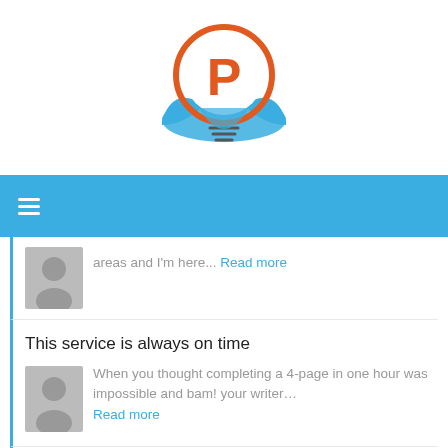[Figure (logo): Circular logo with orange 'P' letter, lightbulb shape, and blue wing/wave design elements]
≡ (navigation bar with hamburger menu)
areas and I'm here... Read more
This service is always on time
When you thought completing a 4-page in one hour was impossible and bam! your writer... Read more
Working and studying at the same time is real trouble.
I have really struggled to work to pay bills and study with all the assignments... Read more